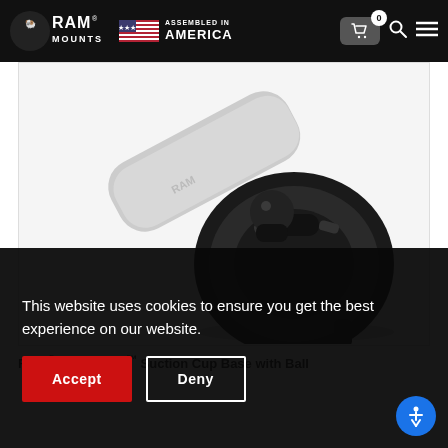RAM MOUNTS — Assembled in America
[Figure (photo): RAM Mounts suction cup base product with ball mount, shown against white background — a black suction cup with twist-lock mechanism and ball attachment, plus an arm component.]
RAM® Twist-Lock™ Suction Cup Base with Ball
This website uses cookies to ensure you get the best experience on our website.
Accept
Deny